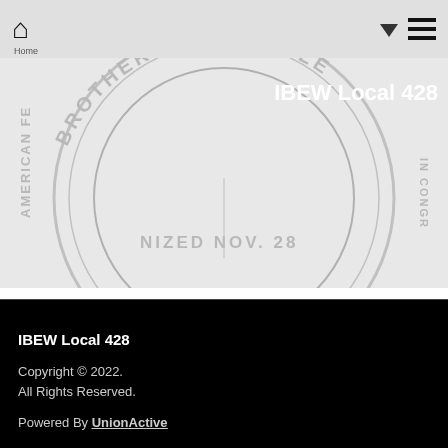Home | IBEW Local 428
[Figure (logo): IBEW Brotherhood of Electrical Workers circular seal/emblem watermark in gray, with text 'IBEW Local 428' overlaid in white at top right]
IBEW-NECA Letter on Vaccine
Download: IBEW_NECA_Vaccine_Joint_Letter_FINAL.pdf
IBEW Local 428
Copyright © 2022.
All Rights Reserved.
Powered By UnionActive